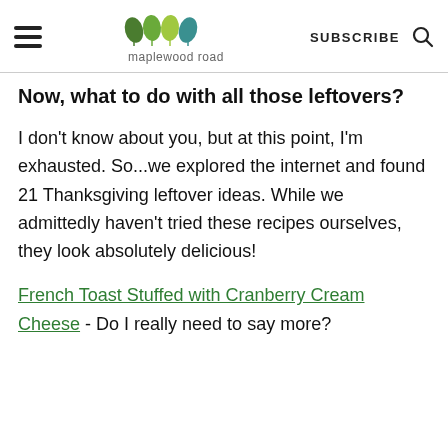maplewood road | SUBSCRIBE
Now, what to do with all those leftovers?
I don't know about you, but at this point, I'm exhausted. So...we explored the internet and found 21 Thanksgiving leftover ideas. While we admittedly haven't tried these recipes ourselves, they look absolutely delicious!
French Toast Stuffed with Cranberry Cream Cheese - Do I really need to say more?